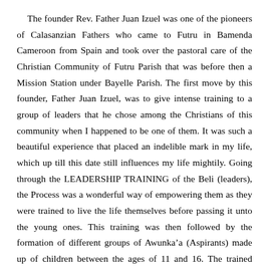The founder Rev. Father Juan Izuel was one of the pioneers of Calasanzian Fathers who came to Futru in Bamenda Cameroon from Spain and took over the pastoral care of the Christian Community of Futru Parish that was before then a Mission Station under Bayelle Parish. The first move by this founder, Father Juan Izuel, was to give intense training to a group of leaders that he chose among the Christians of this community when I happened to be one of them. It was such a beautiful experience that placed an indelible mark in my life, which up till this date still influences my life mightily. Going through the LEADERSHIP TRAINING of the Beli (leaders), the Process was a wonderful way of empowering them as they were trained to live the life themselves before passing it unto the young ones. This training was then followed by the formation of different groups of Awunka’a (Aspirants) made up of children between the ages of 11 and 16. The trained leaders were then